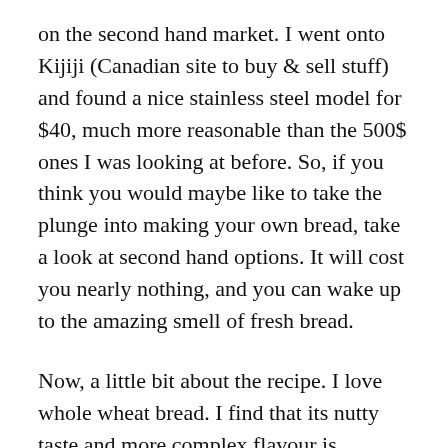on the second hand market. I went onto Kijiji (Canadian site to buy & sell stuff) and found a nice stainless steel model for $40, much more reasonable than the 500$ ones I was looking at before. So, if you think you would maybe like to take the plunge into making your own bread, take a look at second hand options. It will cost you nearly nothing, and you can wake up to the amazing smell of fresh bread.
Now, a little bit about the recipe. I love whole wheat bread. I find that its nutty taste and more complex flavour is superior to white bread. So naturally, this is a 100% whole wheat loaf. Vital wheat gluten is